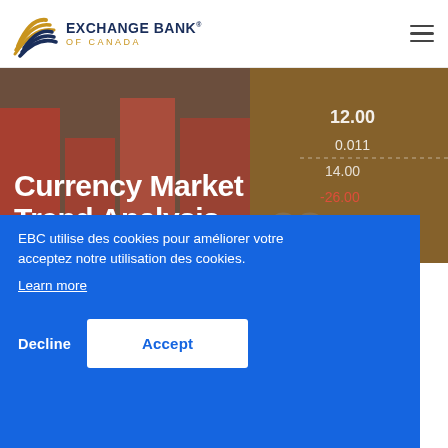Exchange Bank of Canada
[Figure (screenshot): Currency Market Trend Analysis hero banner with stock market data background]
EBC utilise des cookies pour améliorer votre
/ NEWS / CURRENCY MARKET TREND ANALYSIS / DOVISH TURN FROM POWELL HURTS ...
acceptez notre utilisation des cookies.
Learn more
Decline
Accept
broadly. US rates